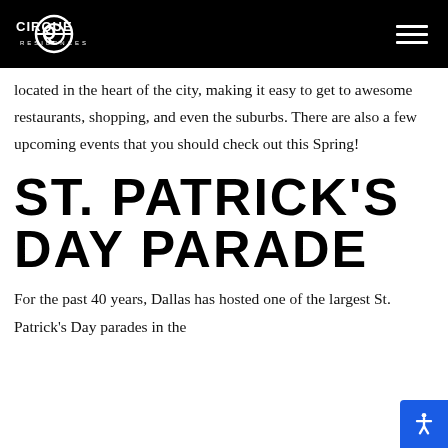CIRQUE RESIDENCES
located in the heart of the city, making it easy to get to awesome restaurants, shopping, and even the suburbs. There are also a few upcoming events that you should check out this Spring!
ST. PATRICK'S DAY PARADE
For the past 40 years, Dallas has hosted one of the largest St. Patrick's Day parades in the